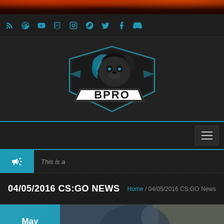[Figure (screenshot): Fire/flames background banner at top of page]
Social media icons bar: RSS, Dribbble, YouTube, Twitch, Instagram, Steam, Twitter, Facebook, Discord
[Figure (logo): BPRO esports logo featuring a lion head with blue and black coloring above the text BPRO]
[Figure (screenshot): Navigation bar with hamburger menu button on the right]
This is a
04/05/2016 CS:GO NEWS
Home / 04/05/2016 CS:GO News
[Figure (photo): Article thumbnail showing a CS:GO scene partially visible, with a date badge showing May 31 in blue/orange]
May 31